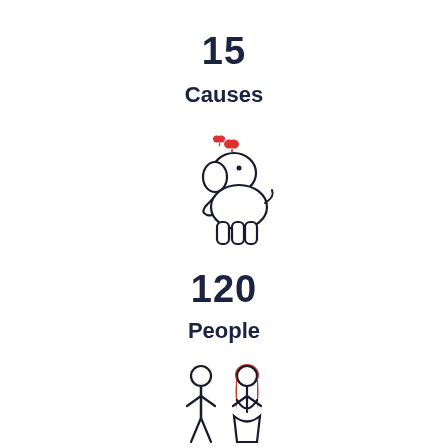15
Causes
[Figure (illustration): A cartoon elephant with red hearts above its trunk, outline style]
120
People
[Figure (illustration): Two people standing together - a male figure and a female figure with red hair, outline/icon style]